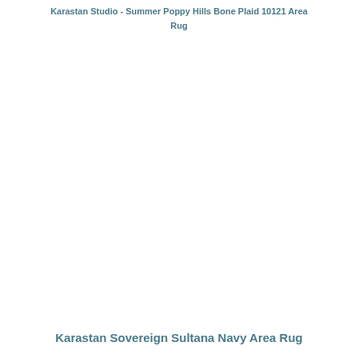Karastan Studio - Summer Poppy Hills Bone Plaid 10121 Area Rug
Karastan Sovereign Sultana Navy Area Rug